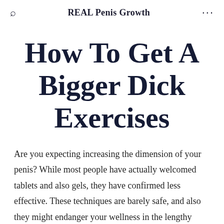REAL Penis Growth
How To Get A Bigger Dick Exercises
Are you expecting increasing the dimension of your penis? While most people have actually welcomed tablets and also gels, they have confirmed less effective. These techniques are barely safe, and also they might endanger your wellness in the lengthy